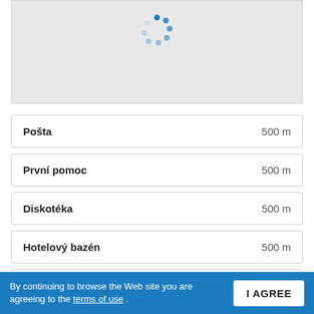[Figure (other): Map loading spinner / placeholder area with a circular dot loader animation on a light gray background]
Pošta  500 m
První pomoc  500 m
Diskotéka  500 m
Hotelový bazén  500 m
Jiné sportovní terény  100 m
By continuing to browse the Web site you are agreeing to the terms of use .